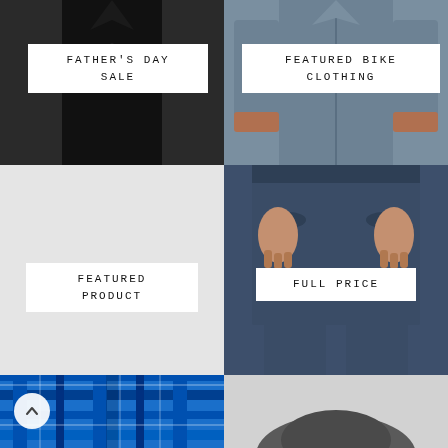[Figure (photo): Man wearing black short-sleeve button-up shirt, cropped at torso. White label overlay reads FATHER'S DAY SALE.]
[Figure (photo): Man wearing gray-blue long-sleeve zip jacket, cropped at torso. White label overlay reads FEATURED BIKE CLOTHING.]
[Figure (photo): Light gray background placeholder image. White label reads FEATURED PRODUCT.]
[Figure (photo): Man wearing navy blue shorts with hands in pockets, cropped at waist/thigh. White label reads FULL PRICE.]
[Figure (photo): Man wearing blue plaid flannel shirt, cropped at chest. Back-to-top arrow button visible in corner.]
[Figure (photo): Gray background with dark gray object partially visible, likely a hat or helmet.]